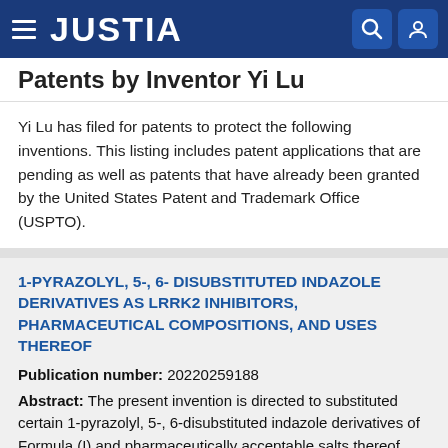JUSTIA
Patents by Inventor Yi Lu
Yi Lu has filed for patents to protect the following inventions. This listing includes patent applications that are pending as well as patents that have already been granted by the United States Patent and Trademark Office (USPTO).
1-PYRAZOLYL, 5-, 6- DISUBSTITUTED INDAZOLE DERIVATIVES AS LRRK2 INHIBITORS, PHARMACEUTICAL COMPOSITIONS, AND USES THEREOF
Publication number: 20220259188
Abstract: The present invention is directed to substituted certain 1-pyrazolyl, 5-, 6-disubstituted indazole derivatives of Formula (I) and pharmaceutically acceptable salts thereof, wherein R1, R2, and ring A are as defined herein, which are potent inhibitors of LRRK2 kinase and may be useful in the treatment or prevention